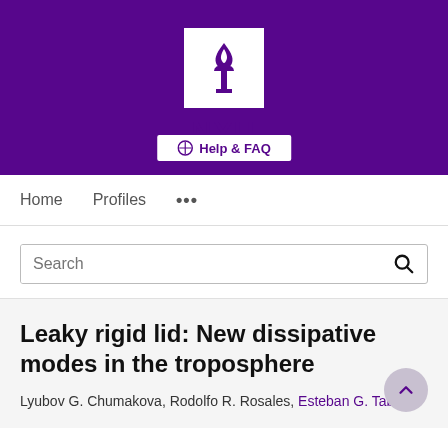[Figure (logo): NYU logo with torch on white background over purple header banner, with Help & FAQ button]
Home  Profiles  ...
Search
Leaky rigid lid: New dissipative modes in the troposphere
Lyubov G. Chumakova, Rodolfo R. Rosales, Esteban G. Tabak